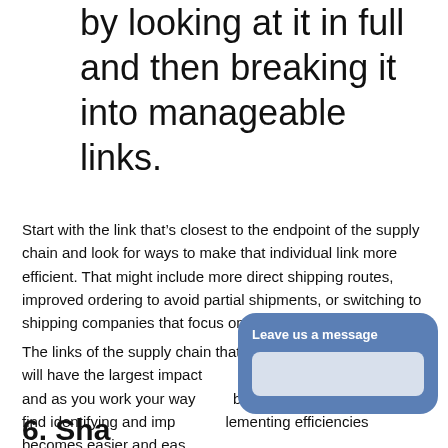by looking at it in full and then breaking it into manageable links.
Start with the link that’s closest to the endpoint of the supply chain and look for ways to make that individual link more efficient. That might include more direct shipping routes, improved ordering to avoid partial shipments, or switching to shipping companies that focus on greener transportation.
The links of the supply chain that are closest to the end point will have the largest impact on emissions and cost, and as you work your way back along the chain you’ll find identifying and implementing efficiencies becomes easier and easier.
6. Share your results